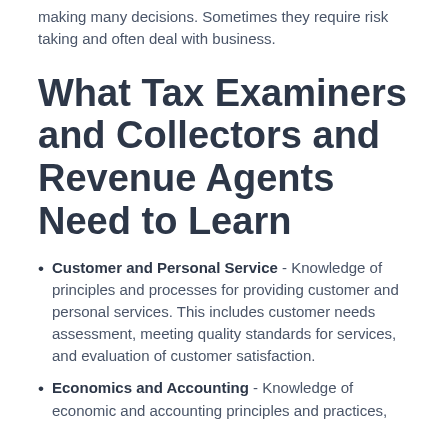making many decisions. Sometimes they require risk taking and often deal with business.
What Tax Examiners and Collectors and Revenue Agents Need to Learn
Customer and Personal Service - Knowledge of principles and processes for providing customer and personal services. This includes customer needs assessment, meeting quality standards for services, and evaluation of customer satisfaction.
Economics and Accounting - Knowledge of economic and accounting principles and practices,